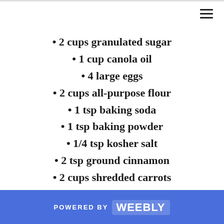• 2 cups granulated sugar
• 1 cup canola oil
• 4 large eggs
• 2 cups all-purpose flour
• 1 tsp baking soda
• 1 tsp baking powder
• 1/4 tsp kosher salt
• 2 tsp ground cinnamon
• 2 cups shredded carrots
POWERED BY weebly